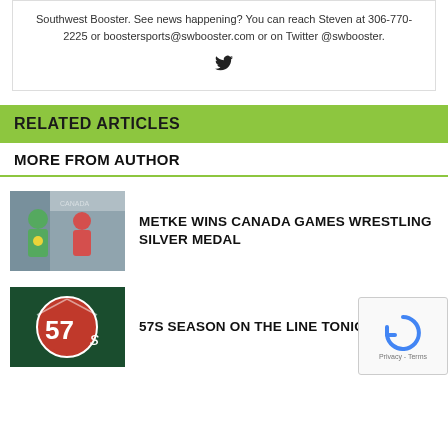Southwest Booster. See news happening? You can reach Steven at 306-770-2225 or boostersports@swbooster.com or on Twitter @swbooster.
[Figure (logo): Twitter bird icon]
RELATED ARTICLES
MORE FROM AUTHOR
[Figure (photo): Wrestling event photo showing people at a Canada Games wrestling competition]
METKE WINS CANADA GAMES WRESTLING SILVER MEDAL
[Figure (logo): 57s baseball team logo on dark green background]
57S SEASON ON THE LINE TONIGHT